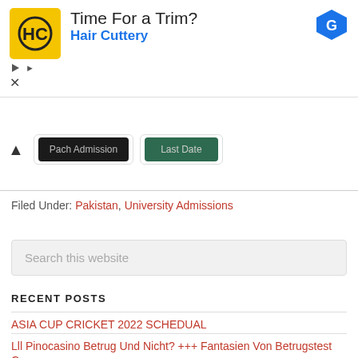[Figure (screenshot): Advertisement banner for Hair Cuttery with yellow HC logo, title 'Time For a Trim?', subtitle 'Hair Cuttery' in blue, and a blue Google Ads diamond badge on the right.]
[Figure (screenshot): Two dark image buttons: 'Pach Admission' (dark background) and 'Last Date' (green background), inside white card wrappers. A collapse arrow on the left.]
Filed Under: Pakistan, University Admissions
Search this website
RECENT POSTS
ASIA CUP CRICKET 2022 SCHEDUAL
Lll Pinocasino Betrug Und Nicht? +++ Fantasien Von Betrugstest Com